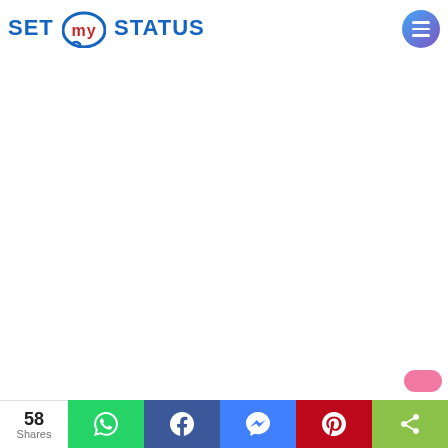SET my STATUS — website header with logo and menu button
[Figure (screenshot): Blank white content area below the header]
58 Shares — share bar with WhatsApp, Facebook, Messenger, Pinterest, and generic share buttons